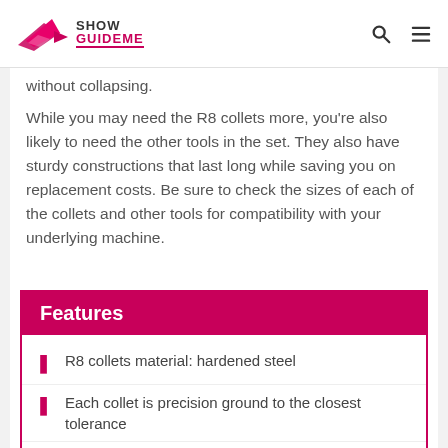Show GuideMe
without collapsing.
While you may need the R8 collets more, you're also likely to need the other tools in the set. They also have sturdy constructions that last long while saving you on replacement costs. Be sure to check the sizes of each of the collets and other tools for compatibility with your underlying machine.
Features
R8 collets material: hardened steel
Each collet is precision ground to the closest tolerance
Hardness of the collets: 60°
The set contains five pieces of the R8
Collet size: 1/4" to 3/4"